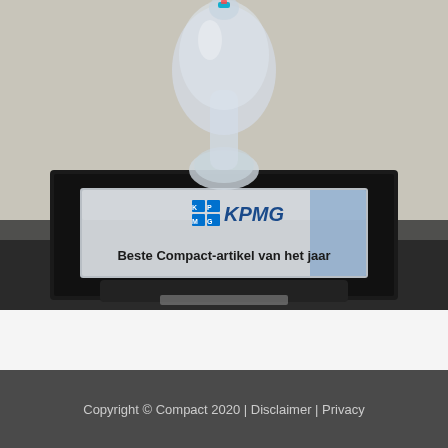[Figure (photo): A crystal/glass trophy sitting on a black rectangular base/plaque. The plaque has a silver metallic plate with the KPMG logo (blue squares) and the text 'Beste Compact-artikel van het jaar' (Best Compact article of the year) in bold black text.]
Copyright © Compact 2020 | Disclaimer | Privacy